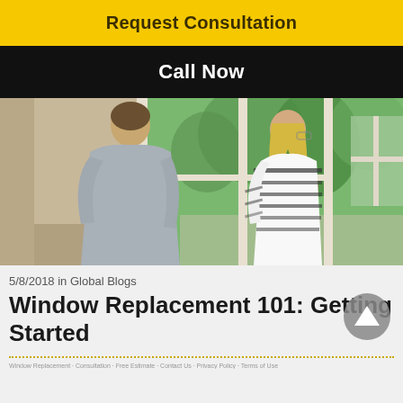Request Consultation
Call Now
[Figure (photo): A man and woman viewed from behind looking out through large white-framed windows at green trees outside]
5/8/2018 in Global Blogs
Window Replacement 101: Getting Started